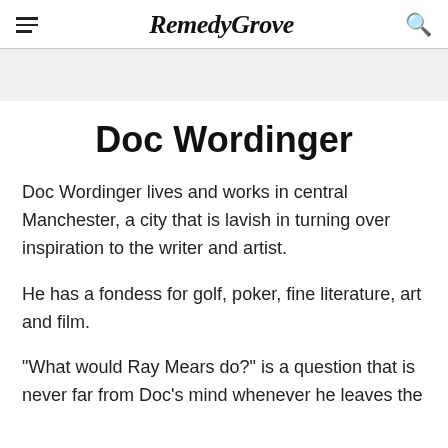RemedyGrove
Doc Wordinger
Doc Wordinger lives and works in central Manchester, a city that is lavish in turning over inspiration to the writer and artist.
He has a fondess for golf, poker, fine literature, art and film.
"What would Ray Mears do?" is a question that is never far from Doc's mind whenever he leaves the